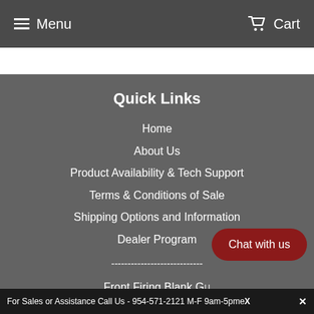Menu   Cart
Quick Links
Home
About Us
Product Availability & Tech Support
Terms & Conditions of Sale
Shipping Options and Information
Dealer Program
----------------------------
Front Firing Blank G...
Top Firing Blank Gu...
For Sales or Assistance Call Us - 954-571-2121 M-F 9am-5pme X